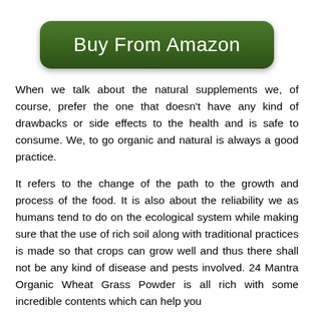[Figure (other): Green rounded rectangular button with white text reading 'Buy From Amazon']
When we talk about the natural supplements we, of course, prefer the one that doesn't have any kind of drawbacks or side effects to the health and is safe to consume. We, to go organic and natural is always a good practice.
It refers to the change of the path to the growth and process of the food. It is also about the reliability we as humans tend to do on the ecological system while making sure that the use of rich soil along with traditional practices is made so that crops can grow well and thus there shall not be any kind of disease and pests involved. 24 Mantra Organic Wheat Grass Powder is all rich with some incredible contents which can help you